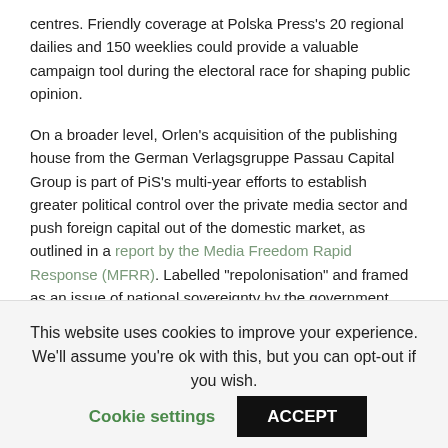centres. Friendly coverage at Polska Press's 20 regional dailies and 150 weeklies could provide a valuable campaign tool during the electoral race for shaping public opinion.
On a broader level, Orlen's acquisition of the publishing house from the German Verlagsgruppe Passau Capital Group is part of PiS's multi-year efforts to establish greater political control over the private media sector and push foreign capital out of the domestic market, as outlined in a report by the Media Freedom Rapid Response (MFRR). Labelled "repolonisation" and framed as an issue of national sovereignty by the government, these efforts are aimed at cementing more indirect control over the media landscape ahead of elections.
Published first on IPI's website
This website uses cookies to improve your experience. We'll assume you're ok with this, but you can opt-out if you wish.
Cookie settings | ACCEPT